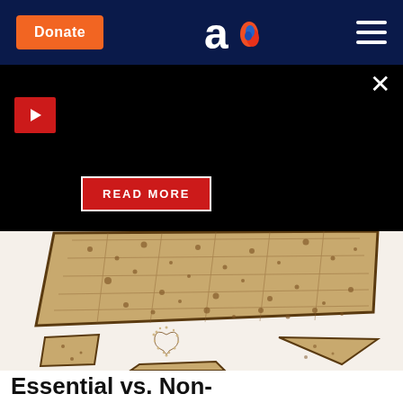Aish - Donate button and navigation logo
[Figure (screenshot): Black promotional banner with a red play button icon on the left and a READ MORE button in the center-left area, with an X close button in the top right corner.]
[Figure (photo): Photo of matzah (unleavened bread) — a large square piece and several broken pieces on a white background, with crumbs arranged in a heart shape.]
Essential vs. Non-